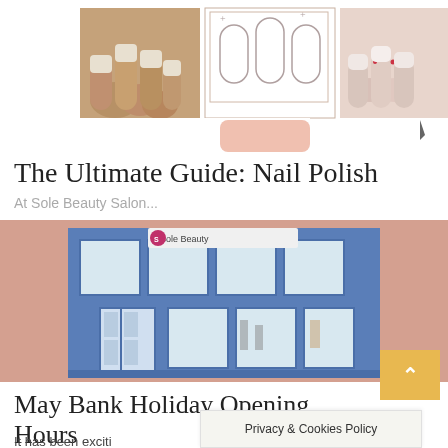[Figure (photo): Collage of nail photos showing manicured hands and a nail art icon illustration]
The Ultimate Guide: Nail Polish
At Sole Beauty Salon...
[Figure (photo): Exterior photo of Sole Beauty Salon with blue storefront and large windows on a pink/salmon background]
May Bank Holiday Opening Hours
It has been exciti
Privacy & Cookies Policy